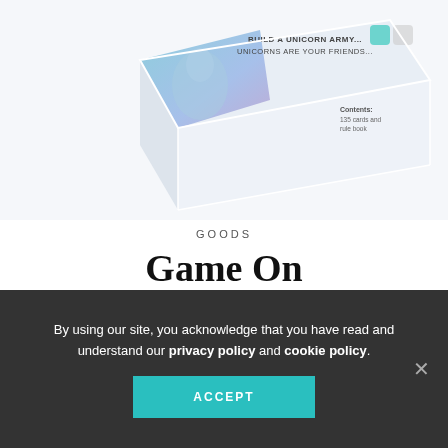[Figure (photo): Partial view of Unstable Unicorns card game box from above, showing box top with text 'BUILD A UNICORN ARMY... UNICORNS ARE YOUR FRIENDS...' and 'Contents: 135 cards and rule book', with blue/purple illustrative art]
GOODS
Game On
August 11, 2021 · Ashley Keshigian Thomas
Family time can be fun and stimulating with these cool games. 1. Strategic Card Game by Unstable Unicorns, $15, available at unstablegames.com. 2. Subscription Boxes of Goodies (Ages 3-11) by...
By using our site, you acknowledge that you have read and understand our privacy policy and cookie policy.